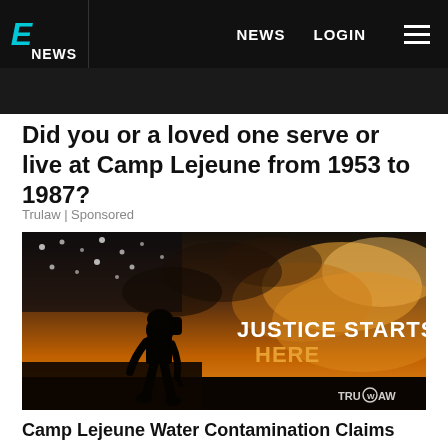E NEWS   NEWS   LOGIN
Did you or a loved one serve or live at Camp Lejeune from 1953 to 1987?
Trulaw | Sponsored
[Figure (photo): Silhouette of a soldier walking against a dramatic golden cloudy sky with an American flag backdrop. Text overlay reads 'JUSTICE STARTS HERE'. TruLaw logo in bottom right corner.]
Camp Lejeune Water Contamination Claims